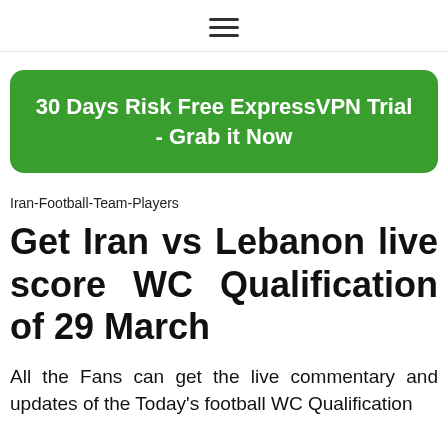≡
[Figure (other): Green rounded button/banner: 30 Days Risk Free ExpressVPN Trial - Grab it Now]
Iran-Football-Team-Players
Get Iran vs Lebanon live score WC Qualification of 29 March
All the Fans can get the live commentary and updates of the Today's football WC Qualification